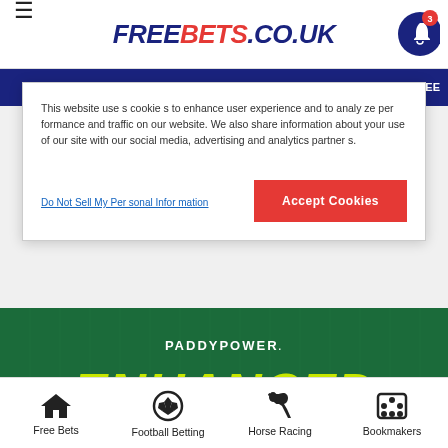FREEBETS.CO.UK
This website uses cookies to enhance user experience and to analyze performance and traffic on our website. We also share information about your use of our site with our social media, advertising and analytics partners.
Do Not Sell My Personal Information
Accept Cookies
[Figure (illustration): Paddy Power Enhanced Odds Offer promotional banner with green background, white Paddy Power logo, and yellow/green bold italic text reading ENHANCED ODDS OFFER]
Free Bets | Football Betting | Horse Racing | Bookmakers